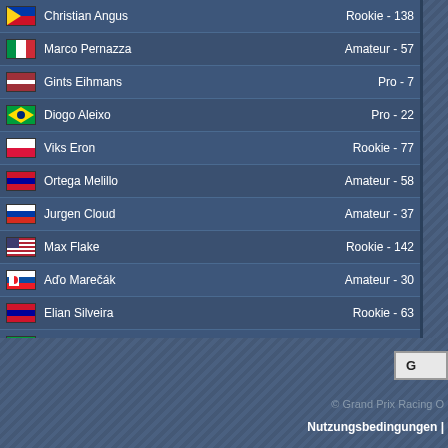| Flag | Name | Category - Points |
| --- | --- | --- |
| PH | Christian Angus | Rookie - 138 |
| IT | Marco Pernazza | Amateur - 57 |
| LV | Gints Eihmans | Pro - 7 |
| BR | Diogo Aleixo | Pro - 22 |
| PL | Viks Eron | Rookie - 77 |
| VE | Ortega Melillo | Amateur - 58 |
| RU | Jurgen Cloud | Amateur - 37 |
| US | Max Flake | Rookie - 142 |
| SK | Aďo Marečák | Amateur - 30 |
| VE | Elian Silveira | Rookie - 63 |
| BR | Rodrigo Mariano | Amateur - 58 |
| LT | Irmantas Urbonas | Pro - 25 |
| CZ | Martin Krč | Rookie - 139 |
| FR | Jean Demaret | Amateur - 57 |
| EN | Enamul Islam | Amateur - 43 |
| GR | Menios Zagori | Amateur - 12 |
Seite [1] 2 3 ... 449 450 451 »
© Grand Prix Racing O
Nutzungsbedingungen |